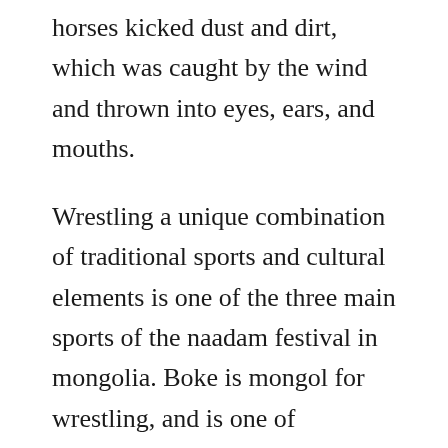horses kicked dust and dirt, which was caught by the wind and thrown into eyes, ears, and mouths.
Wrestling a unique combination of traditional sports and cultural elements is one of the three main sports of the naadam festival in mongolia. Boke is mongol for wrestling, and is one of mongolias ageold three manly skills along with horsemanship and archery. Mongolian officials strip in protest after wrestler loses. The mongolian horse wrestler the adventure handbook. Mongolian wrestling